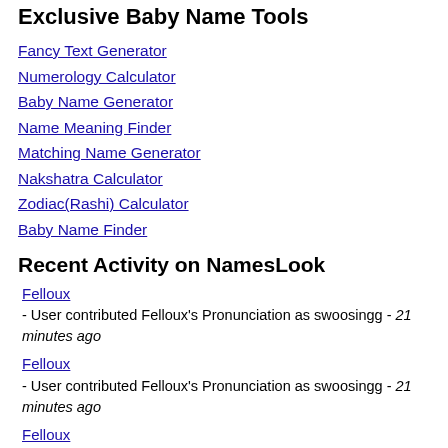Exclusive Baby Name Tools
Fancy Text Generator
Numerology Calculator
Baby Name Generator
Name Meaning Finder
Matching Name Generator
Nakshatra Calculator
Zodiac(Rashi) Calculator
Baby Name Finder
Recent Activity on NamesLook
Felloux - User contributed Felloux's Pronunciation as swoosingg - 21 minutes ago
Felloux - User contributed Felloux's Pronunciation as swoosingg - 21 minutes ago
Felloux - User contributed Felloux's Pronunciation as swoosingg - 21 minutes ago